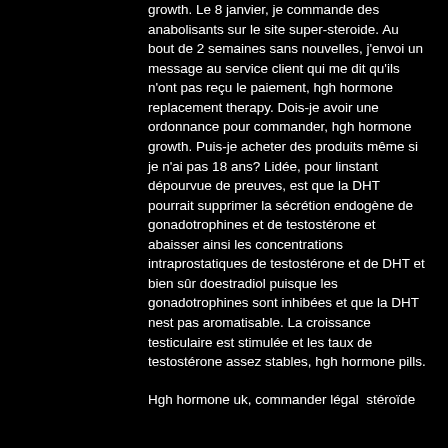growth. Le 8 janvier, je commande des anabolisants sur le site super-steroide. Au bout de 2 semaines sans nouvelles, j'envoi un message au service client qui me dit qu'ils n'ont pas reçu le paiement, hgh hormone replacement therapy. Dois-je avoir une ordonnance pour commander, hgh hormone growth. Puis-je acheter des produits même si je n'ai pas 18 ans? Lidée, pour linstant dépourvue de preuves, est que la DHT pourrait supprimer la sécrétion endogène de gonadotrophines et de testostérone et abaisser ainsi les concentrations intraprostatiques de testostérone et de DHT et bien sûr doestradiol puisque les gonadotrophines sont inhibées et que la DHT nest pas aromatisable. La croissance testiculaire est stimulée et les taux de testostérone assez stables, hgh hormone pills.
Hgh hormone uk, commander légal  stéroïde